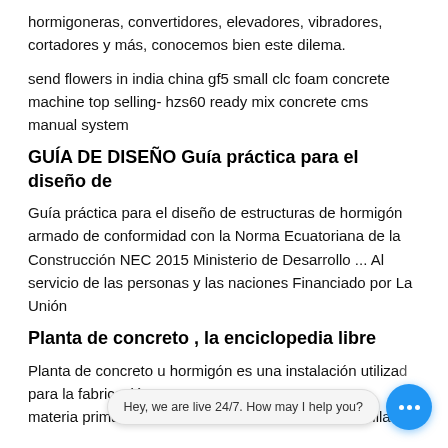hormigoneras, convertidores, elevadores, vibradores, cortadores y más, conocemos bien este dilema.
send flowers in india china gf5 small clc foam concrete machine top selling- hzs60 ready mix concrete cms manual system
GUÍA DE DISEÑO Guía práctica para el diseño de
Guía práctica para el diseño de estructuras de hormigón armado de conformidad con la Norma Ecuatoriana de la Construcción NEC 2015 Ministerio de Desarrollo ... Al servicio de las personas y las naciones Financiado por La Unión
Planta de concreto , la enciclopedia libre
Planta de concreto u hormigón es una instalación utilizada para la fabricación de e materia prima que lo compone: árido (arenas y gravillas),